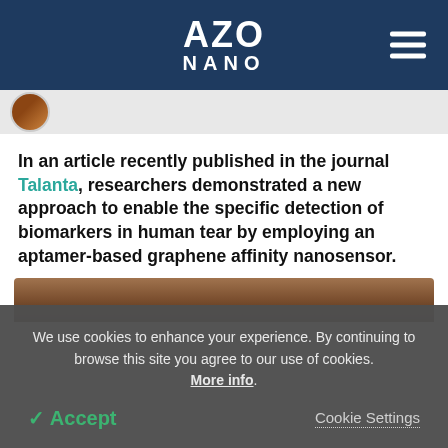AZO NANO
[Figure (photo): Circular profile photo thumbnail on a grey strip background]
In an article recently published in the journal Talanta, researchers demonstrated a new approach to enable the specific detection of biomarkers in human tear by employing an aptamer-based graphene affinity nanosensor.
[Figure (photo): Partial view of a brown/earthy textured image at the bottom of the content area]
We use cookies to enhance your experience. By continuing to browse this site you agree to our use of cookies. More info.
✓ Accept
Cookie Settings